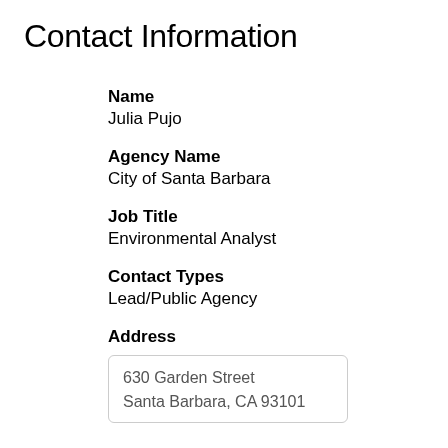Contact Information
Name
Julia Pujo
Agency Name
City of Santa Barbara
Job Title
Environmental Analyst
Contact Types
Lead/Public Agency
Address
630 Garden Street
Santa Barbara, CA 93101